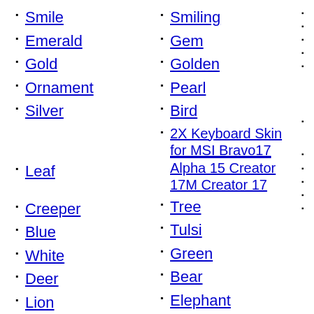Smile
Emerald
Gold
Ornament
Silver
Leaf
Creeper
Blue
White
Deer
Lion
Smiling
Gem
Golden
Pearl
Bird
2X Keyboard Skin for MSI Bravo17 Alpha 15 Creator 17M Creator 17
Tree
Tulsi
Green
Bear
Elephant
Monkey